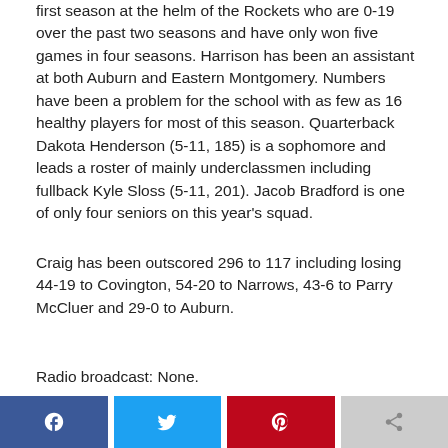first season at the helm of the Rockets who are 0-19 over the past two seasons and have only won five games in four seasons. Harrison has been an assistant at both Auburn and Eastern Montgomery. Numbers have been a problem for the school with as few as 16 healthy players for most of this season. Quarterback Dakota Henderson (5-11, 185) is a sophomore and leads a roster of mainly underclassmen including fullback Kyle Sloss (5-11, 201). Jacob Bradford is one of only four seniors on this year's squad.
Craig has been outscored 296 to 117 including losing 44-19 to Covington, 54-20 to Narrows, 43-6 to Parry McCluer and 29-0 to Auburn.
Radio broadcast: None.